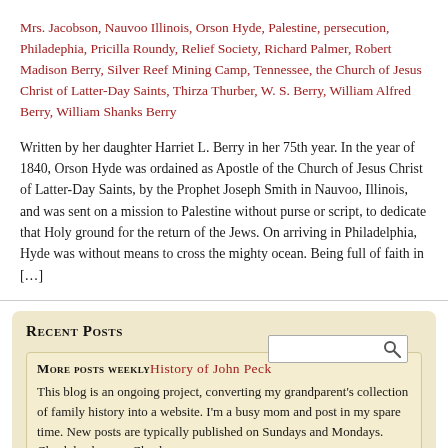Mrs. Jacobson, Nauvoo Illinois, Orson Hyde, Palestine, persecution, Philadephia, Pricilla Roundy, Relief Society, Richard Palmer, Robert Madison Berry, Silver Reef Mining Camp, Tennessee, the Church of Jesus Christ of Latter-Day Saints, Thirza Thurber, W. S. Berry, William Alfred Berry, William Shanks Berry
Written by her daughter Harriet L. Berry in her 75th year. In the year of 1840, Orson Hyde was ordained as Apostle of the Church of Jesus Christ of Latter-Day Saints, by the Prophet Joseph Smith in Nauvoo, Illinois, and was sent on a mission to Palestine without purse or script, to dedicate that Holy ground for the return of the Jews. On arriving in Philadelphia, Hyde was without means to cross the mighty ocean. Being full of faith in […]
Recent Posts
More posts weekly History of John Peck
This blog is an ongoing project, converting my grandparent's collection of family history into a website. I'm a busy mom and post in my spare time. New posts are typically published on Sundays and Mondays. Check back soon. Check